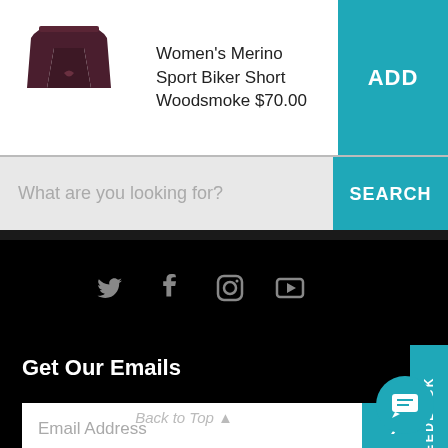[Figure (photo): Women's Merino Sport Biker Short in Woodsmoke (dark maroon/purple) color]
Women's Merino Sport Biker Short Woodsmoke $70.00
ADD
What are you looking for?
SEARCH
[Figure (other): Social media icons: Twitter, Facebook, Instagram, YouTube]
FEEDBACK
Get Our Emails
Email Address
>
Back to Top ▲